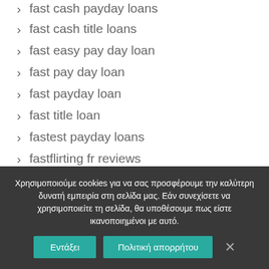fast cash payday loans
fast cash title loans
fast easy pay day loan
fast pay day loan
fast payday loan
fast title loan
fastest payday loans
fastflirting fr reviews
fastflirting seiten
Χρησιμοποιούμε cookies για να σας προσφέρουμε την καλύτερη δυνατή εμπειρία στη σελίδα μας. Εάν συνεχίσετε να χρησιμοποιείτε τη σελίδα, θα υποθέσουμε πως είστε ικανοποιημένοι με αυτό.
Εντάξει | Πολιτική απορρήτου